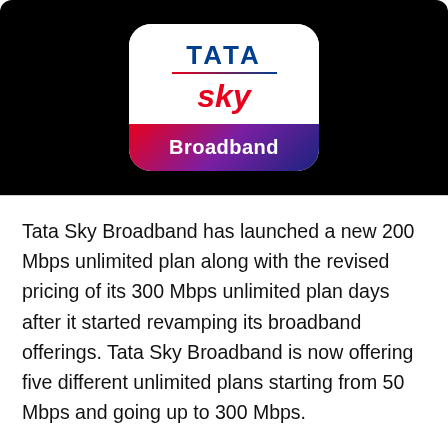[Figure (logo): Tata Sky Broadband logo: white rounded rectangle with TATA in blue bold text, a gradient underline, 'sky' in red italic, and a gradient red-to-blue band at the bottom with 'Broadband' in white text. Set against a black background.]
Tata Sky Broadband has launched a new 200 Mbps unlimited plan along with the revised pricing of its 300 Mbps unlimited plan days after it started revamping its broadband offerings. Tata Sky Broadband is now offering five different unlimited plans starting from 50 Mbps and going up to 300 Mbps.